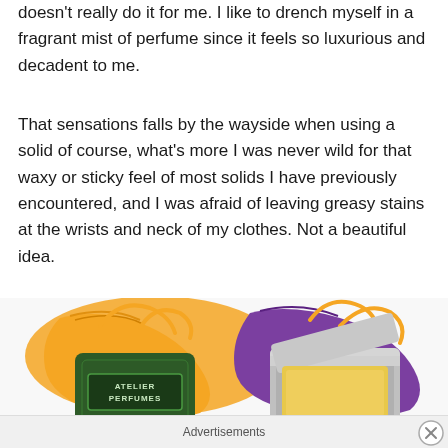doesn't really do it for me. I like to drench myself in a fragrant mist of perfume since it feels so luxurious and decadent to me.
That sensations falls by the wayside when using a solid of course, what's more I was never wild for that waxy or sticky feel of most solids I have previously encountered, and I was afraid of leaving greasy stains at the wrists and neck of my clothes. Not a beautiful idea.
[Figure (photo): Photo of two solid perfume tins with fabric drawstring pouches — one orange/yellow pouch with a dark green tin labeled 'ATELIER PERFUMES', and one purple pouch with an open silver tin containing a yellow/amber solid perfume.]
Advertisements